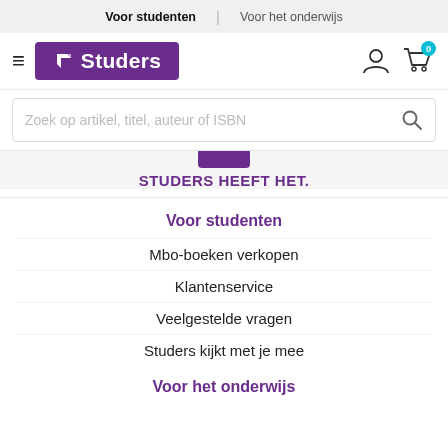Voor studenten | Voor het onderwijs
[Figure (logo): Studers logo: purple rectangle with white arrow icon and 'Studers' text]
Zoek op artikel, titel, auteur of ISBN
STUDERS HEEFT HET.
Voor studenten
Mbo-boeken verkopen
Klantenservice
Veelgestelde vragen
Studers kijkt met je mee
Voor het onderwijs